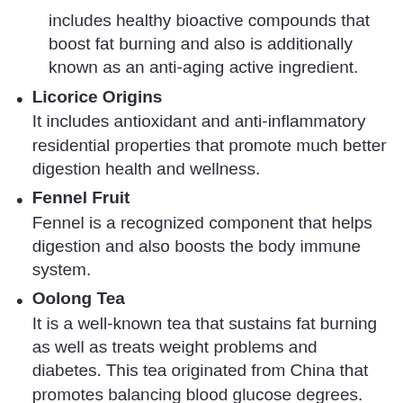includes healthy bioactive compounds that boost fat burning and also is additionally known as an anti-aging active ingredient.
Licorice Origins
It includes antioxidant and anti-inflammatory residential properties that promote much better digestion health and wellness.
Fennel Fruit
Fennel is a recognized component that helps digestion and also boosts the body immune system.
Oolong Tea
It is a well-known tea that sustains fat burning as well as treats weight problems and diabetes. This tea originated from China that promotes balancing blood glucose degrees.
Senna Leaves